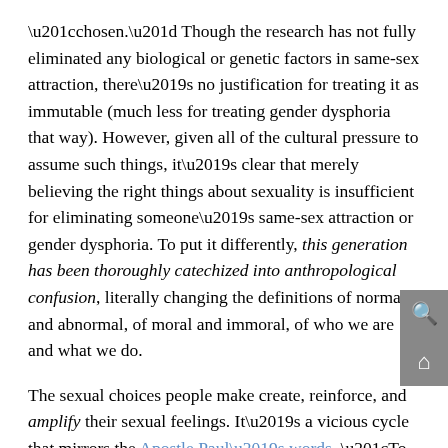“chosen.” Though the research has not fully eliminated any biological or genetic factors in same-sex attraction, there’s no justification for treating it as immutable (much less for treating gender dysphoria that way). However, given all of the cultural pressure to assume such things, it’s clear that merely believing the right things about sexuality is insufficient for eliminating someone’s same-sex attraction or gender dysphoria. To put it differently, this generation has been thoroughly catechized into anthropological confusion, literally changing the definitions of normal and abnormal, of moral and immoral, of who we are and what we do.
The sexual choices people make create, reinforce, and amplify their sexual feelings. It’s a vicious cycle that mirrors the Apostle Paul’s words, “To set the mind on the flesh is death, but to set the mind on the Spirit is life and peace.”
Though the Gospel doesn’t promise instantly repaired